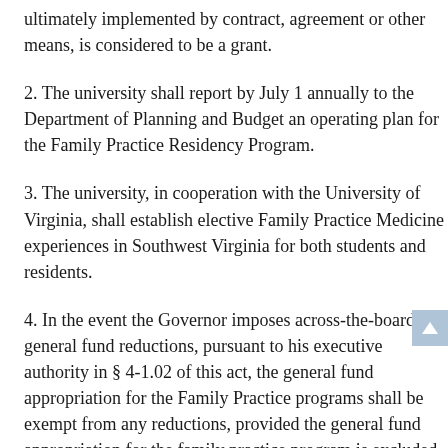ultimately implemented by contract, agreement or other means, is considered to be a grant.
2. The university shall report by July 1 annually to the Department of Planning and Budget an operating plan for the Family Practice Residency Program.
3. The university, in cooperation with the University of Virginia, shall establish elective Family Practice Medicine experiences in Southwest Virginia for both students and residents.
4. In the event the Governor imposes across-the-board general fund reductions, pursuant to his executive authority in § 4-1.02 of this act, the general fund appropriation for the Family Practice programs shall be exempt from any reductions, provided the general fund appropriation for the family practice program is excluded from the total general fund